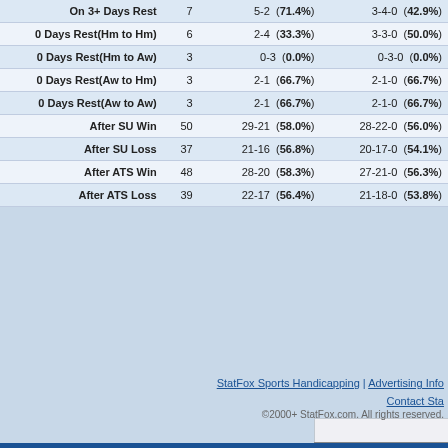|  | G | SU Record | ATS Record |
| --- | --- | --- | --- |
| On 3+ Days Rest | 7 | 5-2  (71.4%) | 3-4-0  (42.9%) |
| 0 Days Rest(Hm to Hm) | 6 | 2-4  (33.3%) | 3-3-0  (50.0%) |
| 0 Days Rest(Hm to Aw) | 3 | 0-3  (0.0%) | 0-3-0  (0.0%) |
| 0 Days Rest(Aw to Hm) | 3 | 2-1  (66.7%) | 2-1-0  (66.7%) |
| 0 Days Rest(Aw to Aw) | 3 | 2-1  (66.7%) | 2-1-0  (66.7%) |
| After SU Win | 50 | 29-21  (58.0%) | 28-22-0  (56.0%) |
| After SU Loss | 37 | 21-16  (56.8%) | 20-17-0  (54.1%) |
| After ATS Win | 48 | 28-20  (58.3%) | 27-21-0  (56.3%) |
| After ATS Loss | 39 | 22-17  (56.4%) | 21-18-0  (53.8%) |
StatFox Sports Handicapping | Advertising Info Contact Sta
©2000+ StatFox.com. All rights reserved.